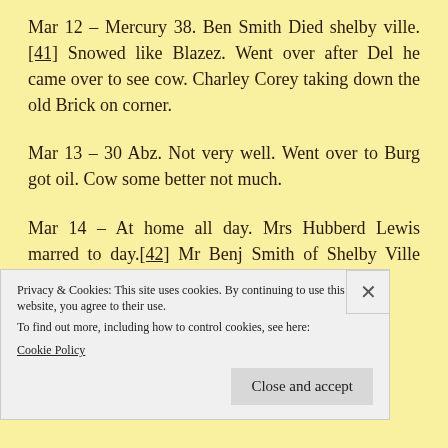Mar 12 – Mercury 38. Ben Smith Died shelby ville.[41] Snowed like Blazez. Went over after Del he came over to see cow. Charley Corey taking down the old Brick on corner.
Mar 13 – 30 Abz. Not very well. Went over to Burg got oil. Cow some better not much.
Mar 14 – At home all day. Mrs Hubberd Lewis marred to day.[42] Mr Benj Smith of Shelby Ville Buried to day.
Privacy & Cookies: This site uses cookies. By continuing to use this website, you agree to their use.
To find out more, including how to control cookies, see here: Cookie Policy